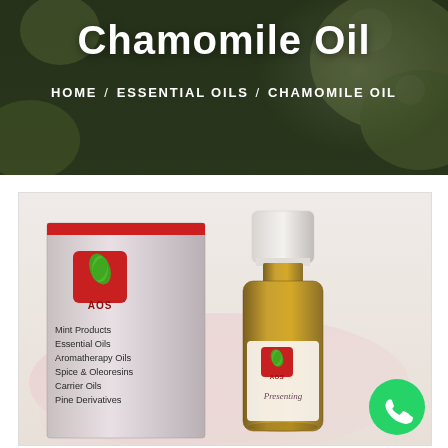Chamomile Oil
HOME / ESSENTIAL OILS / CHAMOMILE OIL
[Figure (photo): Product photo of AOS Chamomile Oil — a pink/grey product box with AOS logo (green leaf on red background) and list of product categories, alongside a glass bottle of chamomile oil with white cap and AOS label, against a white and pinkish background. WhatsApp contact button in lower right.]